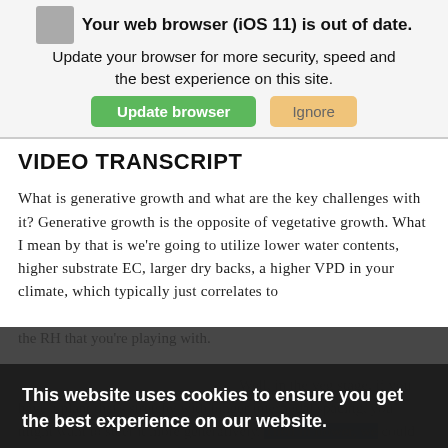[Figure (screenshot): Browser update notification banner with globe icon, text 'Your web browser (iOS 11) is out of date. Update your browser for more security, speed and the best experience on this site.' with green 'Update browser' button and tan 'Ignore' button.]
VIDEO TRANSCRIPT
What is generative growth and what are the key challenges with it? Generative growth is the opposite of vegetative growth. What I mean by that is we're going to utilize lower water contents, higher substrate EC, larger dry backs, a higher VPD in your climate, which typically just correlates to the RH that you're playing with.
[Figure (screenshot): Cookie consent popup overlay with dark background. Text: 'This website uses cookies to ensure you get the best experience on our website.' with 'Learn more' underlined link and 'Got it!' button. Behind the popup, partially visible text continues the transcript about veg stage and generative steering.]
Well, in the veg stage, if you have a plant that's stretchy with longer internodal spacing, you might want to steer it more generatively. Then in flower, we could use generative cues to set the flower in and build a better quality flower. What I mean by that is, if you have a plant that shoots out those fox tails or is really airy with